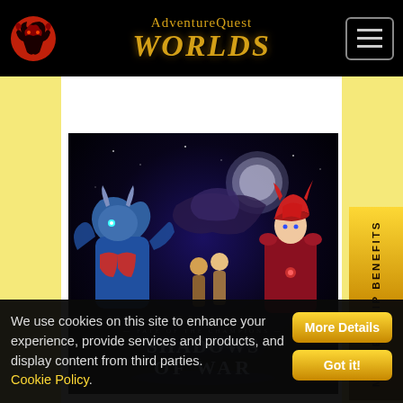AdventureQuest WORLDS
[Figure (screenshot): Game promotional banner for 'Fate of the Champions: Shadows of War' showing fantasy characters including a blue dragon warrior and red-haired female character against a dark mystical background]
3   39
Artix Krieger Retweeted
We use cookies on this site to enhance your experience, provide services and products, and display content from third parties. Cookie Policy.